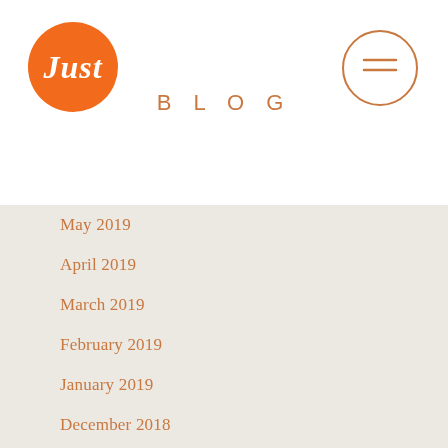[Figure (logo): Orange circle logo with cursive 'Just' text in white]
BLOG
[Figure (other): Hamburger menu icon inside a circle outline]
May 2019
April 2019
March 2019
February 2019
January 2019
December 2018
November 2018
October 2018
September 2018
August 2018
July 2018
June 2018